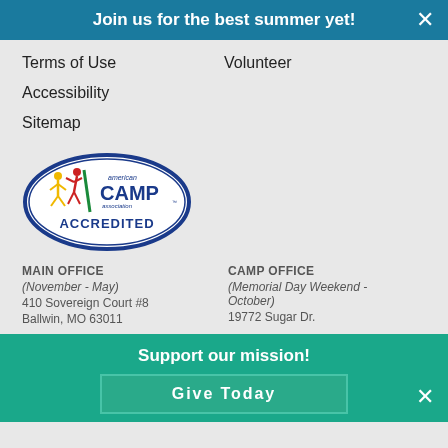Join us for the best summer yet!
Terms of Use
Volunteer
Accessibility
Sitemap
[Figure (logo): American Camp Association Accredited logo — oval shape with figures and text]
MAIN OFFICE
(November - May)
410 Sovereign Court #8
Ballwin, MO 63011
CAMP OFFICE
(Memorial Day Weekend - October)
19772 Sugar Dr.
Support our mission!
Give Today